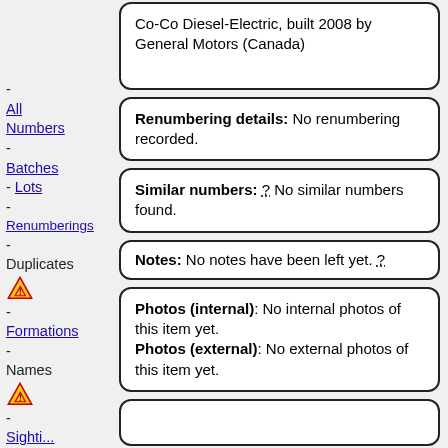Numbers 🚧 - All Numbers - Batches - Lots - Renumberings - Duplicates 🚧 - Formations - Names 🚧 - Sightings
Co-Co Diesel-Electric, built 2008 by General Motors (Canada)
Renumbering details: No renumbering recorded.
Similar numbers: ? No similar numbers found.
Notes: No notes have been left yet. ?
Photos (internal): No internal photos of this item yet. Photos (external): No external photos of this item yet.